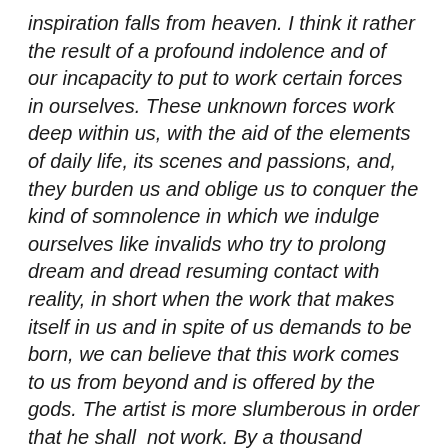inspiration falls from heaven.  I think it rather the result of a profound indolence and of our incapacity to put to work certain forces in ourselves.  These unknown forces work deep within us, with the aid of the elements of daily life, its scenes and passions, and, they burden us and oblige us to conquer the kind of somnolence in which we indulge ourselves like invalids who try to prolong dream and dread resuming contact with reality, in short when the work that makes itself in us and in spite of us demands to be born, we can believe that this work comes to us from beyond and is offered by the gods.  The artist is more slumberous in order that he shall  not work.  By a thousand ruses, he prevents his nocturnal work from seeing the light of day.
For it is at the moment that consciousness must take a precedence and that it becomes necessary to find the means which permit the unformed work to take form, to